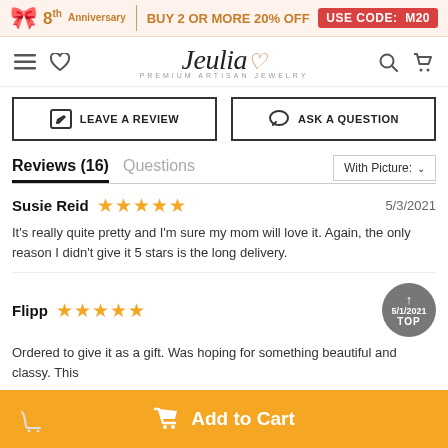8th Anniversary | BUY 2 OR MORE 20% OFF  USE CODE: M20
[Figure (logo): Jeulia Premium Artisan Jewelry logo with navigation icons]
LEAVE A REVIEW
ASK A QUESTION
Reviews (16)  Questions
With Picture: ∨
Susie Reid  ★★★★★  5/3/2021
It's really quite pretty and I'm sure my mom will love it. Again, the only reason I didn't give it 5 stars is the long delivery.
Flipp  ★★★★★  5/1/2021
Ordered to give it as a gift. Was hoping for something beautiful and classy. This
Add to Cart